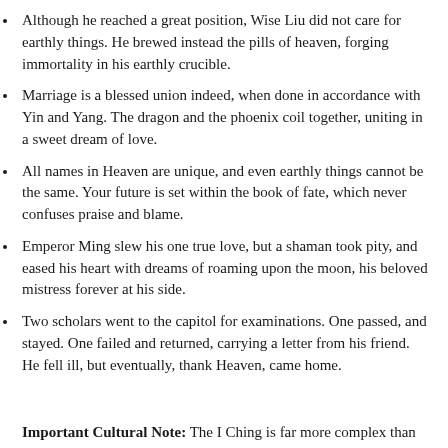Although he reached a great position, Wise Liu did not care for earthly things. He brewed instead the pills of heaven, forging immortality in his earthly crucible.
Marriage is a blessed union indeed, when done in accordance with Yin and Yang. The dragon and the phoenix coil together, uniting in a sweet dream of love.
All names in Heaven are unique, and even earthly things cannot be the same. Your future is set within the book of fate, which never confuses praise and blame.
Emperor Ming slew his one true love, but a shaman took pity, and eased his heart with dreams of roaming upon the moon, his beloved mistress forever at his side.
Two scholars went to the capitol for examinations. One passed, and stayed. One failed and returned, carrying a letter from his friend. He fell ill, but eventually, thank Heaven, came home.
Important Cultural Note: The I Ching is far more complex than